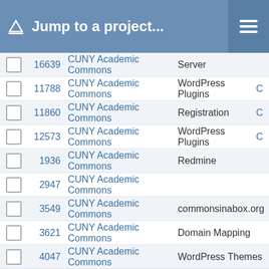Jump to a project...
16639  CUNY Academic Commons  Server
11788  CUNY Academic Commons  WordPress Plugins  C
11860  CUNY Academic Commons  Registration  C
12573  CUNY Academic Commons  WordPress Plugins  C
1936  CUNY Academic Commons  Redmine
2947  CUNY Academic Commons
3549  CUNY Academic Commons  commonsinabox.org
3621  CUNY Academic Commons  Domain Mapping
4047  CUNY Academic Commons  WordPress Themes